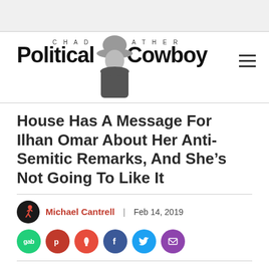Chad Prather Political Cowboy
House Has A Message For Ilhan Omar About Her Anti-Semitic Remarks, And She’s Not Going To Like It
Michael Cantrell | Feb 14, 2019